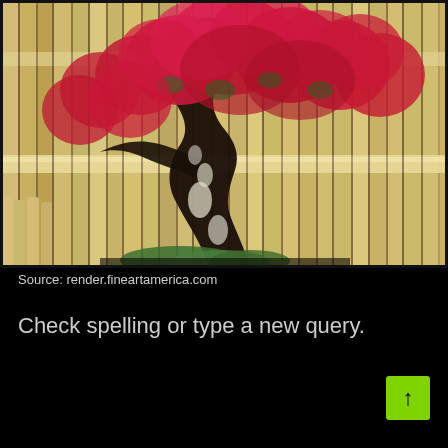[Figure (photo): A bonsai tree with vivid red/pink bougainvillea flowers against a bamboo fence background. The tree has a dramatic twisted dark trunk with moss at the base, and the fence is made of vertical bamboo poles.]
Source: render.fineartamerica.com
Check spelling or type a new query.